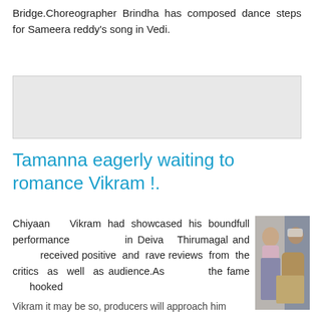Bridge.Choreographer Brindha has composed dance steps for Sameera reddy's song in Vedi.
[Figure (other): Advertisement placeholder box (gray background)]
Tamanna eagerly waiting to romance Vikram !.
Chiyaan Vikram had showcased his boundfull performance in Deiva Thirumagal and received positive and rave reviews from the critics as well as audience.As the fame hooked
[Figure (photo): Photo of Tamanna (actress in pink top and jeans) and Vikram (actor with sunglasses and jacket) posed together]
Vikram it may be so, producers will approach him